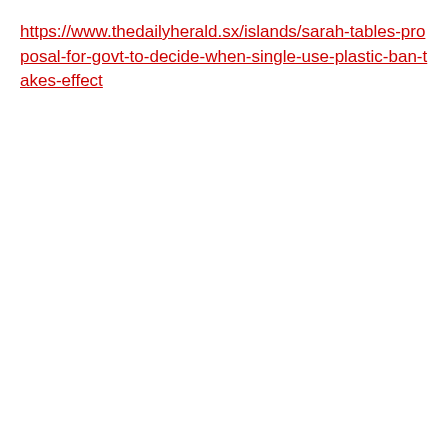https://www.thedailyherald.sx/islands/sarah-tables-proposal-for-govt-to-decide-when-single-use-plastic-ban-takes-effect